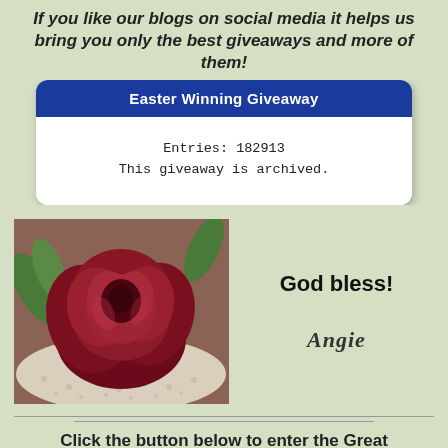If you like our blogs on social media it helps us bring you only the best giveaways and more of them!
Easter Winning Giveaway
Entries: 182913
This giveaway is archived.
[Figure (photo): A deep red rose lying on a white lace doily with green leaves visible in the background]
God bless!
Angie
Click the button below to enter the Great Giveaways going on now!!: